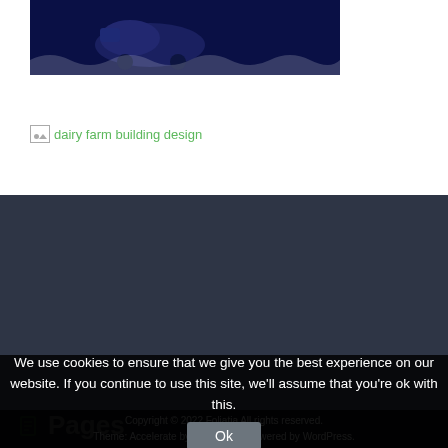[Figure (screenshot): Dark navy blue image showing a cow or vehicle illustration at the top of the page]
[Figure (screenshot): Broken image link placeholder showing 'dairy farm building design' in green text]
Pages
About
Contact
Priv...
We use cookies to ensure that we give you the best experience on our website. If you continue to use this site, we'll assume that you're ok with this.
Copyright © 2022 Foliatia All rights reserved. Theme: Accelerate by ThemeGrill. Powered by WordPress.